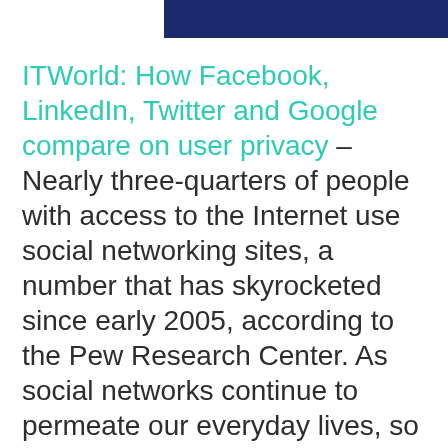[Figure (other): Dark navy blue rectangular banner image at the top right of the page]
ITWorld: How Facebook, LinkedIn, Twitter and Google compare on user privacy – Nearly three-quarters of people with access to the Internet use social networking sites, a number that has skyrocketed since early 2005, according to the Pew Research Center. As social networks continue to permeate our everyday lives, so do the